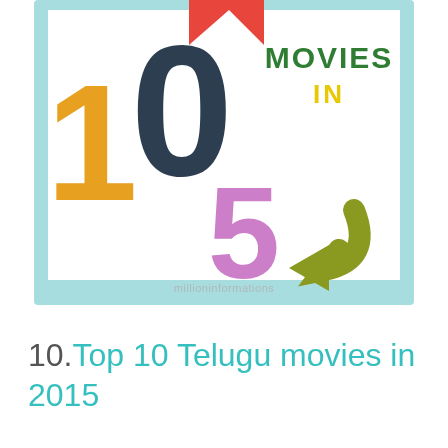[Figure (infographic): Infographic with light blue border frame. Inside white background: large dark navy blue number '10' with a house/arrow shape cutout in red at top. Yellow/orange number '1' on left. Purple/magenta number '5' in center-lower area. Olive green curved arrow pointing left. Text 'MOVIES' in dark green bold uppercase top right, 'IN' in yellow bold below it. Watermark text 'millioninformations' at bottom center in light gray.]
10.Top 10 Telugu movies in 2015